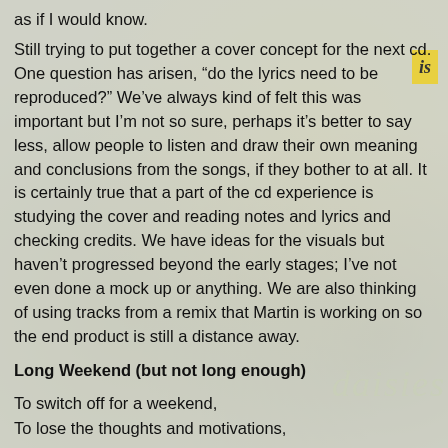as if I would know.
Still trying to put together a cover concept for the next cd. One question has arisen, “do the lyrics need to be reproduced?” We’ve always kind of felt this was important but I’m not so sure, perhaps it’s better to say less, allow people to listen and draw their own meaning and conclusions from the songs, if they bother to at all. It is certainly true that a part of the cd experience is studying the cover and reading notes and lyrics and checking credits. We have ideas for the visuals but haven’t progressed beyond the early stages; I’ve not even done a mock up or anything. We are also thinking of using tracks from a remix that Martin is working on so the end product is still a distance away.
Long Weekend (but not long enough)
To switch off for a weekend,
To lose the thoughts and motivations,
On which we seem to depend.
To end.
Some sort of struggle against time,